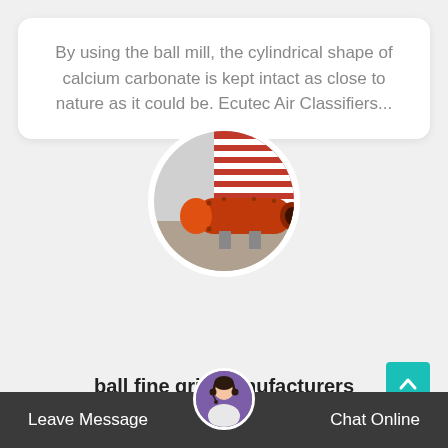By using the ball mill, the cylindrical shape of calcium carbonate is kept intact as close to nature as it could be. Ecutec Air Classifiers...
[Figure (photo): Circular cropped photo of an orange industrial ball mill cylinder on the ground, with a red and white striped building in background. Displayed over a dark navy/slate rounded card with a white wave at the bottom.]
ball fine grin...anufacturers
[Figure (photo): Customer service representative avatar photo in a circular crop, placed in the center of the bottom navigation bar]
Leave Message   Chat Online